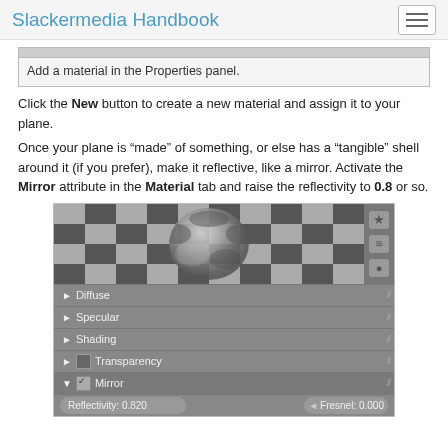Slackermedia Handbook
[Figure (screenshot): Screenshot showing 'Add a material in the Properties panel.' UI element with grey toolbar at top]
Click the New button to create a new material and assign it to your plane.
Once your plane is "made" of something, or else has a "tangible" shell around it (if you prefer), make it reflective, like a mirror. Activate the Mirror attribute in the Material tab and raise the reflectivity to 0.8 or so.
[Figure (screenshot): Blender 3D material properties panel showing a sphere with checkerboard reflection, with Diffuse, Specular, Shading, Transparency, and Mirror sections. Mirror is checked and expanded showing Reflectivity: 0.820 and Fresnel: 0.000 fields.]